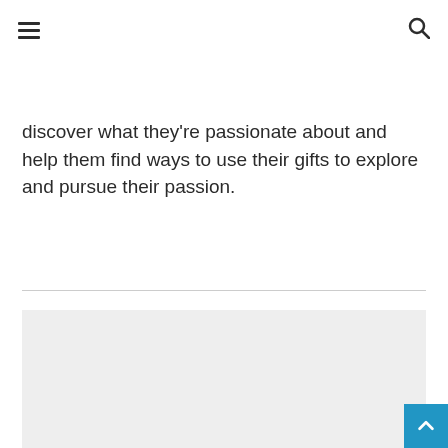[hamburger menu icon] [search icon]
discover what they're passionate about and help them find ways to use their gifts to explore and pursue their passion.
[Figure (other): A large light gray rectangle placeholder image area below the horizontal divider line, occupying the lower portion of the page.]